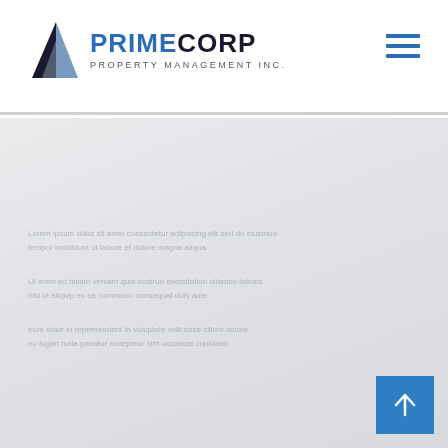[Figure (logo): PrimeCorp Property Management Inc. logo with pyramid/diamond icon and company name]
[Figure (other): Hamburger menu icon (three horizontal blue lines) in top right corner]
[Figure (other): Light grey main content area with faint placeholder text lines]
[Figure (other): Blue scroll-to-top button with upward arrow in bottom right corner]